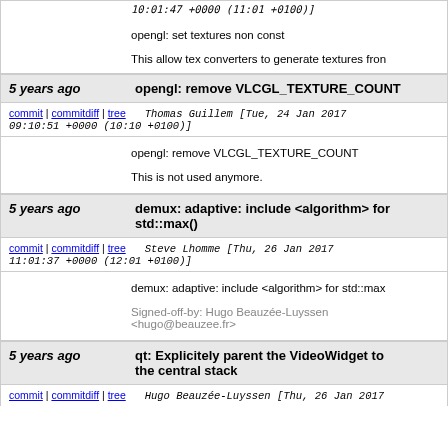10:01:47 +0000 (11:01 +0100)]
opengl: set textures non const

This allow tex converters to generate textures fron
5 years ago  opengl: remove VLCGL_TEXTURE_COUNT
commit | commitdiff | tree  Thomas Guillem [Tue, 24 Jan 2017 09:10:51 +0000 (10:10 +0100)]
opengl: remove VLCGL_TEXTURE_COUNT

This is not used anymore.
5 years ago  demux: adaptive: include <algorithm> for std::max()
commit | commitdiff | tree  Steve Lhomme [Thu, 26 Jan 2017 11:01:37 +0000 (12:01 +0100)]
demux: adaptive: include <algorithm> for std::max

Signed-off-by: Hugo Beauzee-Luyssen <hugo@beauzee.fr>
5 years ago  qt: Explicitely parent the VideoWidget to the central stack
commit | commitdiff | tree  Hugo Beauzee-Luyssen [Thu, 26 Jan 2017